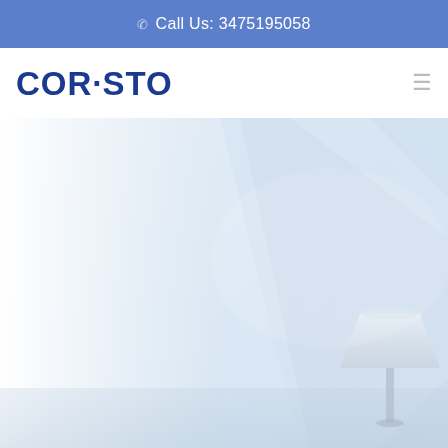📞 Call Us: 3475195058
COR·STO
[Figure (photo): Light blue-grey interior room photograph showing a minimalist space with soft shadows and a partial view of a lamp in the lower right corner]